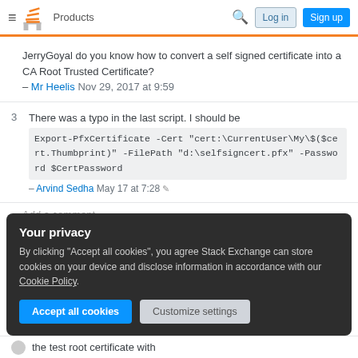≡ [Stack Overflow logo] Products 🔍 Log in Sign up
JerryGoyal do you know how to convert a self signed certificate into a CA Root Trusted Certificate? – Mr Heelis Nov 29, 2017 at 9:59
3  There was a typo in the last script. I should be Export-PfxCertificate -Cert "cert:\CurrentUser\My\$($cert.Thumbprint)" -FilePath "d:\selfsigncert.pfx" -Password $CertPassword – Arvind Sedha May 17 at 7:28 ✏
Add a comment
Your privacy
By clicking "Accept all cookies", you agree Stack Exchange can store cookies on your device and disclose information in accordance with our Cookie Policy.
Accept all cookies   Customize settings
the test root certificate with